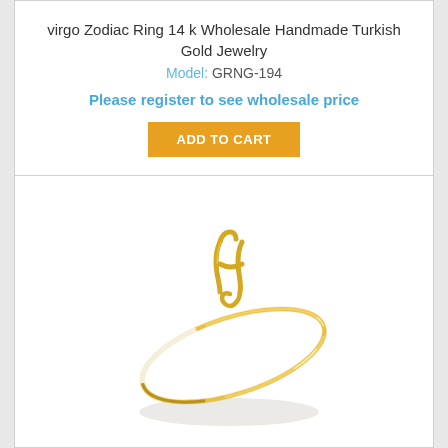virgo Zodiac Ring 14 k Wholesale Handmade Turkish Gold Jewelry
Model: GRNG-194
Please register to see wholesale price
ADD TO CART
[Figure (photo): Gold virgo zodiac ring with the Virgo symbol on top, thin gold band, photographed on white background with soft shadow below.]